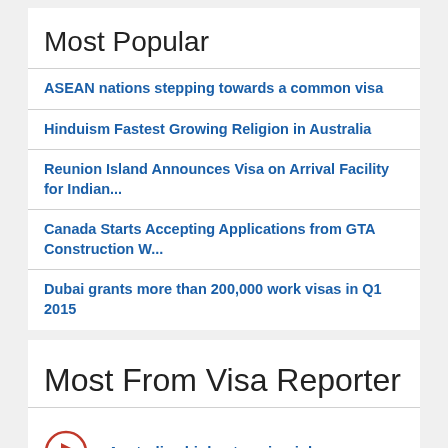Most Popular
ASEAN nations stepping towards a common visa
Hinduism Fastest Growing Religion in Australia
Reunion Island Announces Visa on Arrival Facility for Indian...
Canada Starts Accepting Applications from GTA Construction W...
Dubai grants more than 200,000 work visas in Q1 2015
Most From Visa Reporter
Australias highest paying jobs
Auscitzday promo